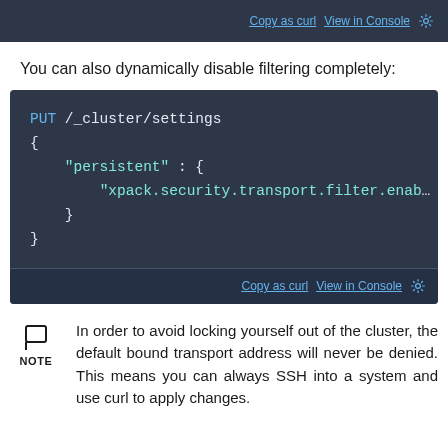Copy as curl  View in Console  ⚙
You can also dynamically disable filtering completely:
[Figure (screenshot): Code block showing PUT /_cluster/settings request with persistent xpack.security.transport.filter.enabled setting, dark background with syntax highlighting]
In order to avoid locking yourself out of the cluster, the default bound transport address will never be denied. This means you can always SSH into a system and use curl to apply changes.